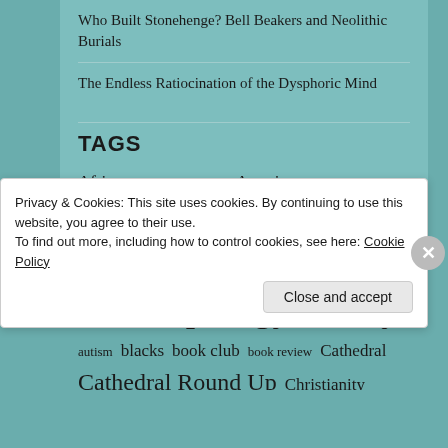Who Built Stonehenge? Bell Beakers and Neolithic Burials
The Endless Ratiocination of the Dysphoric Mind
TAGS
Africa  African Americans  America  anthropology  Anthropology Friday  autism  blacks  book club  book review  Cathedral  Cathedral Round Up  Christianity  civilization  communism  conservatives  crime  Cultural  DNA
Privacy & Cookies: This site uses cookies. By continuing to use this website, you agree to their use.
To find out more, including how to control cookies, see here: Cookie Policy
Close and accept